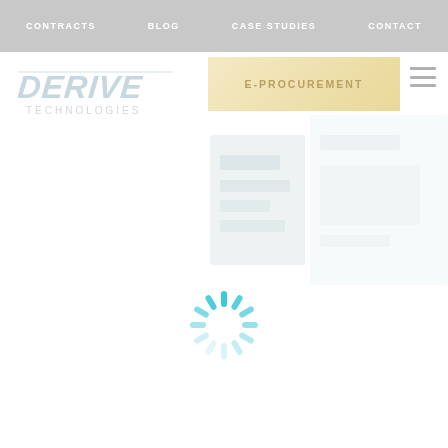CONTRACTS  BLOG  CASE STUDIES  CONTACT
[Figure (logo): Derive Technologies logo — stylized italic text with 'DERIVE' in light blue/grey and 'TECHNOLOGIES' below in smaller grey text]
E-PROCUREMENT
[Figure (screenshot): Faded background screenshot of a web interface showing blurred content]
[Figure (infographic): Teal/cyan loading spinner icon in the center of the page]